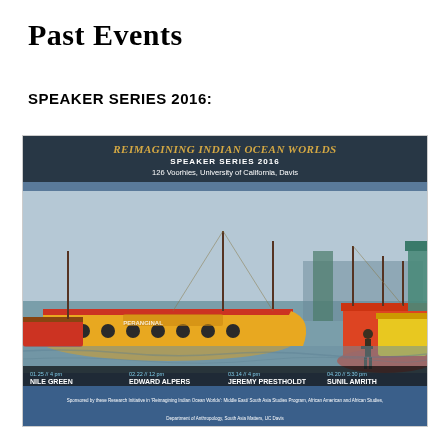Past Events
SPEAKER SERIES 2016:
[Figure (photo): Promotional flyer for 'Reimagining Indian Ocean Worlds' Speaker Series 2016 at 126 Voorhies, University of California, Davis. Features a photo of colorful fishing boats on water. Four speakers listed: Nile Green (01.25 // 4 pm), Edward Alpers (02.22 // 12 pm), Jeremy Prestholdt (03.14 // 4 pm), Sunil Amrith (04.20 // 5:30 pm). Sponsored by various UC Davis programs.]